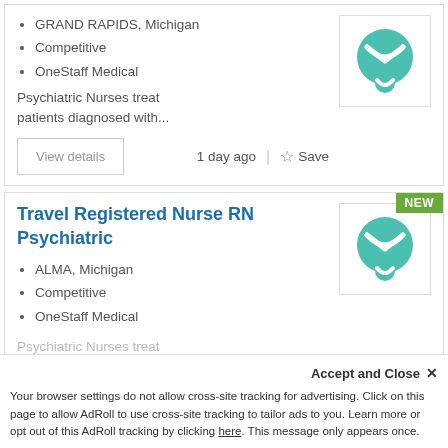GRAND RAPIDS, Michigan
Competitive
OneStaff Medical
Psychiatric Nurses treat patients diagnosed with...
View details
1 day ago
Save
Travel Registered Nurse RN Psychiatric
ALMA, Michigan
Competitive
OneStaff Medical
Psychiatric Nurses treat...
NEW
Accept and Close ✕
Your browser settings do not allow cross-site tracking for advertising. Click on this page to allow AdRoll to use cross-site tracking to tailor ads to you. Learn more or opt out of this AdRoll tracking by clicking here. This message only appears once.